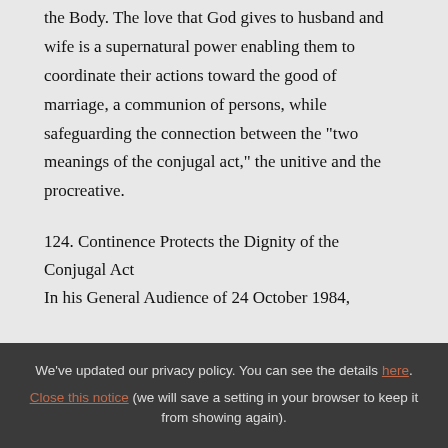the Body. The love that God gives to husband and wife is a supernatural power enabling them to coordinate their actions toward the good of marriage, a communion of persons, while safeguarding the connection between the "two meanings of the conjugal act," the unitive and the procreative.
124. Continence Protects the Dignity of the Conjugal Act
In his General Audience of 24 October 1984,
We've updated our privacy policy. You can see the details here. Close this notice (we will save a setting in your browser to keep it from showing again).